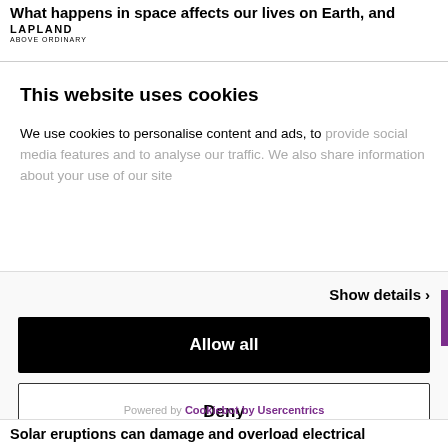What happens in space affects our lives on Earth, and
[Figure (logo): LAPLAND Above Ordinary logo]
This website uses cookies
We use cookies to personalise content and ads, to provide social media features and to analyse our traffic. We also share information about your use of our site
Show details >
Allow all
Deny
Powered by Cookiebot by Usercentrics
Solar eruptions can damage and overload electrical